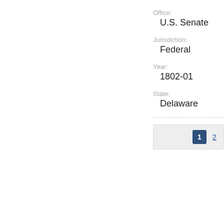Office:
U.S. Senate
Jurisdiction:
Federal
Year:
1802-01
State:
Delaware
1  2